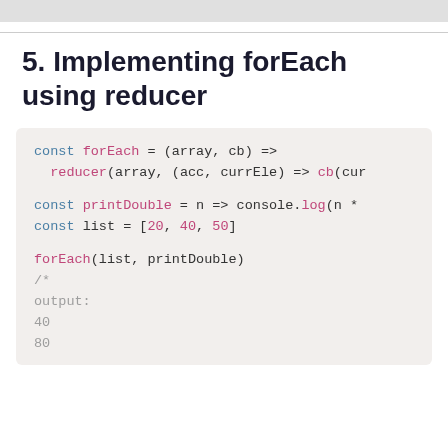5. Implementing forEach using reducer
[Figure (screenshot): Code block showing JavaScript implementation of forEach using reducer, with example usage of printDouble function on list [20, 40, 50], and output comment showing 40, 80...]